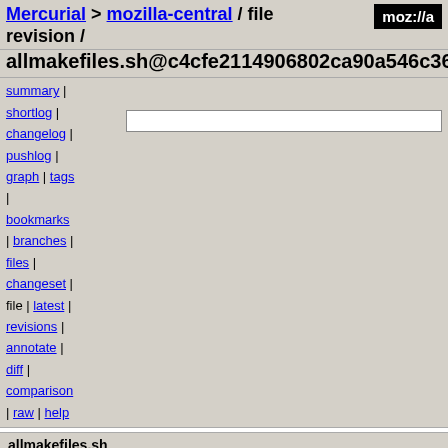Mercurial > mozilla-central / file revision /
allmakefiles.sh@c4cfe2114906802ca90a546c36862
summary |
shortlog |
changelog |
pushlog |
graph | tags
|
bookmarks
| branches |
files |
changeset |
file | latest |
revisions |
annotate |
diff |
comparison
| raw | help
allmakefiles.sh
| field | value |
| --- | --- |
| author | aaronleventhal@moonset.net |
|  | Thu, 30 Aug 2007 11:51:47 -0700 (2007-08-30) |
| changeset 5475 | c4cfe2114906802ca90a546c36862​73066dfc45b |
| parent 4570 | 2dfc71975e82a39c742252f54d7db3c551357ace |
| child 5496 | accc7ff90f57df9686e24d0ce0a0a585543e5c8a |
| permissions | -rwxr-xr-x |